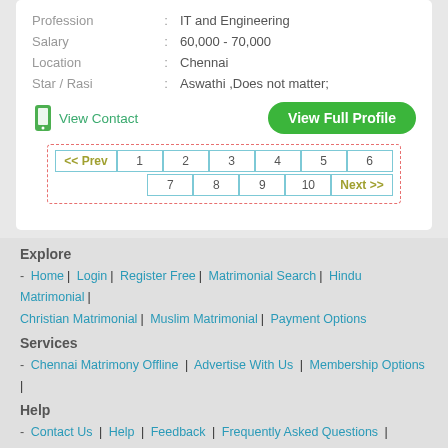| Profession | : | IT and Engineering |
| Salary | : | 60,000 - 70,000 |
| Location | : | Chennai |
| Star / Rasi | : | Aswathi ,Does not matter; |
View Contact
View Full Profile
<< Prev  1  2  3  4  5  6  7  8  9  10  Next >>
Explore
- Home | Login | Register Free | Matrimonial Search | Hindu Matrimonial | Christian Matrimonial | Muslim Matrimonial | Payment Options
Services
- Chennai Matrimony Offline  |  Advertise With Us  |  Membership Options  |
Help
- Contact Us  |  Help  |  Feedback  |  Frequently Asked Questions  |  Report Abuse  |  Sitemap
Legal
- About Us  |  Terms & Conditions  |  Privacy Policy  |  Security Tips  |  Safety Tips